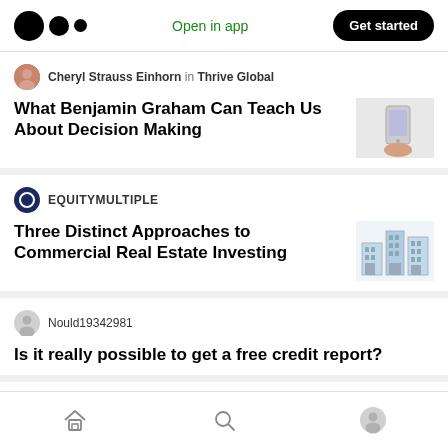Open in app | Get started
Cheryl Strauss Einhorn in Thrive Global
What Benjamin Graham Can Teach Us About Decision Making
EQUITYMULTIPLE
Three Distinct Approaches to Commercial Real Estate Investing
Nould19342981
Is it really possible to get a free credit report?
Hatiorth4950